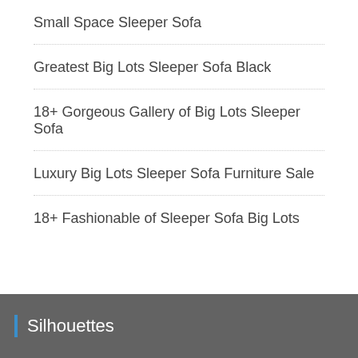Small Space Sleeper Sofa
Greatest Big Lots Sleeper Sofa Black
18+ Gorgeous Gallery of Big Lots Sleeper Sofa
Luxury Big Lots Sleeper Sofa Furniture Sale
18+ Fashionable of Sleeper Sofa Big Lots
Silhouettes